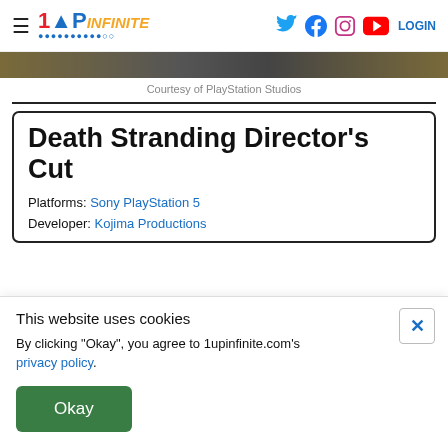1UP INFINITE | Social icons: Twitter, Facebook, Instagram, YouTube | LOGIN
Courtesy of PlayStation Studios
Death Stranding Director's Cut
Platforms: Sony PlayStation 5
Developer: Kojima Productions
This website uses cookies
By clicking "Okay", you agree to 1upinfinite.com's privacy policy.
Okay